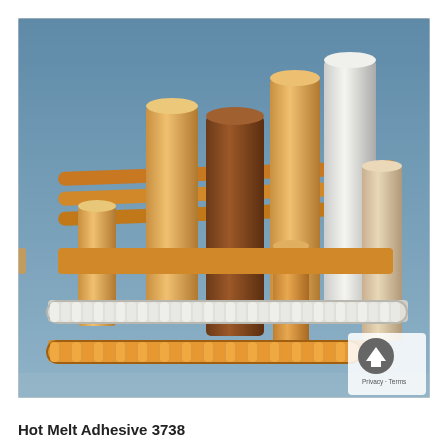[Figure (photo): Product photo showing various Hot Melt Adhesive 3738 sticks and pellets in different colors (orange, amber, brown, white/translucent) arranged on a blue-grey surface. Items include cylindrical glue sticks of varying sizes and corrugated/ribbed adhesive rods, as well as pellet strings.]
Hot Melt Adhesive 3738